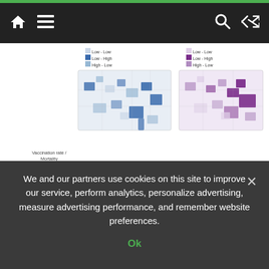Navigation bar with home, menu, search, and shuffle icons
[Figure (map): Four US county-level choropleth maps showing Vaccination rate/Mortality (top row, two maps with blue and purple color schemes) and K-means clustering (bottom row, two maps with blue and purple cluster color schemes). Legends show Low-Low, Low-High, High-Low categories for top maps, and Cluster 1-4 for bottom maps.]
The omicron wave of the COVID-19 pandemic in late 2021 and early 2022 spread like a grass fire in America’s densely populated cities but led to higher rates of death in rural counties where vaccinations are
We and our partners use cookies on this site to improve our service, perform analytics, personalize advertising, measure advertising performance, and remember website preferences.
Ok